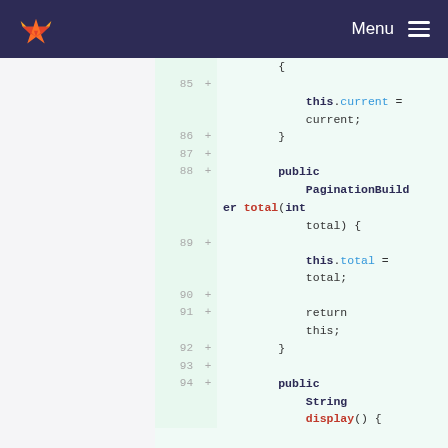GitLab Menu
[Figure (screenshot): GitLab diff view showing Java code lines 85-94, a PaginationBuilder class with methods for current and total, with added lines highlighted in green.]